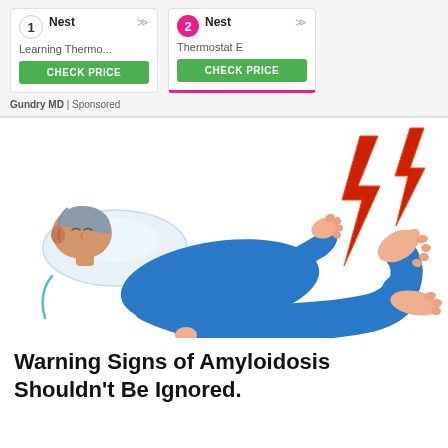[Figure (infographic): Advertisement widget showing two Nest thermostat products ranked 1 and 2 with Check Price buttons. Rank 2 (Nest Thermostat E) has pink/magenta highlight underline. Sponsored by Gundry MD.]
Gundry MD | Sponsored
[Figure (illustration): Illustration of a person lying on a bed/pillow wearing blue pajamas, with a large red lightning bolt striking their lower leg/foot area, suggesting pain. The person's foot is raised and toes curled indicating distress.]
Warning Signs of Amyloidosis Shouldn't Be Ignored.